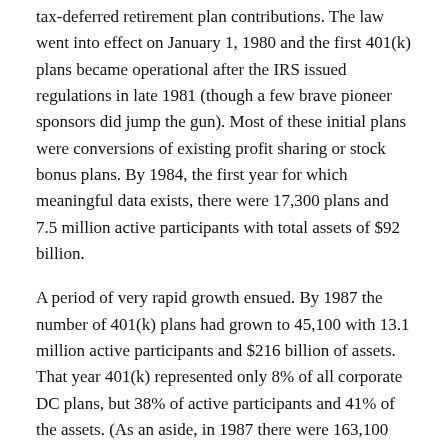tax-deferred retirement plan contributions. The law went into effect on January 1, 1980 and the first 401(k) plans became operational after the IRS issued regulations in late 1981 (though a few brave pioneer sponsors did jump the gun). Most of these initial plans were conversions of existing profit sharing or stock bonus plans. By 1984, the first year for which meaningful data exists, there were 17,300 plans and 7.5 million active participants with total assets of $92 billion.
A period of very rapid growth ensued. By 1987 the number of 401(k) plans had grown to 45,100 with 13.1 million active participants and $216 billion of assets. That year 401(k) represented only 8% of all corporate DC plans, but 38% of active participants and 41% of the assets. (As an aside, in 1987 there were 163,100 corporate DB plans with 28.4 million active participants; today, 25 years later, there are 44,800 plans with 16.8 million actives).
By 1992 there were 139,700 plans with $553 billion of assets